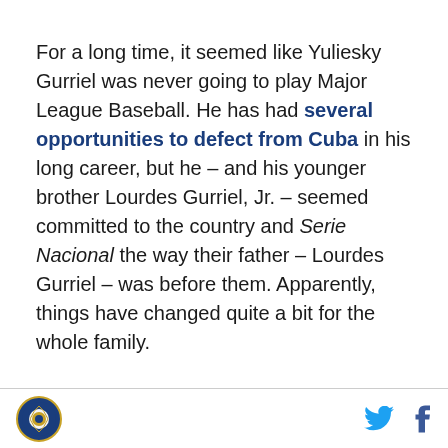For a long time, it seemed like Yuliesky Gurriel was never going to play Major League Baseball. He has had several opportunities to defect from Cuba in his long career, but he – and his younger brother Lourdes Gurriel, Jr. – seemed committed to the country and Serie Nacional the way their father – Lourdes Gurriel – was before them. Apparently, things have changed quite a bit for the whole family.
Logo | Twitter | Facebook